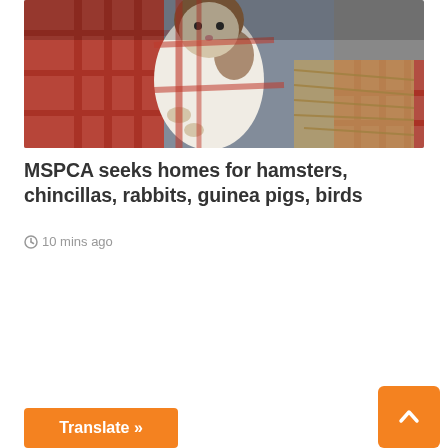[Figure (photo): A hamster or guinea pig with brown and white fur standing up against red cage bars, with hay/straw visible in the background on a blue surface]
MSPCA seeks homes for hamsters, chincillas, rabbits, guinea pigs, birds
10 mins ago
Translate »